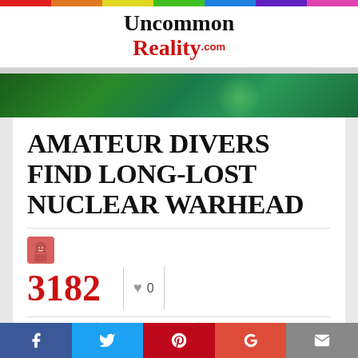Uncommon Reality.com
[Figure (photo): Dark green/teal hero image with abstract underwater or space-like background]
AMATEUR DIVERS FIND LONG-LOST NUCLEAR WARHEAD
3182  ♥ 0  BY ADMIN  7 YEARS AGO
IN CRAZY · HISTORY ·
Facebook  Twitter  Pinterest  Google+  Email